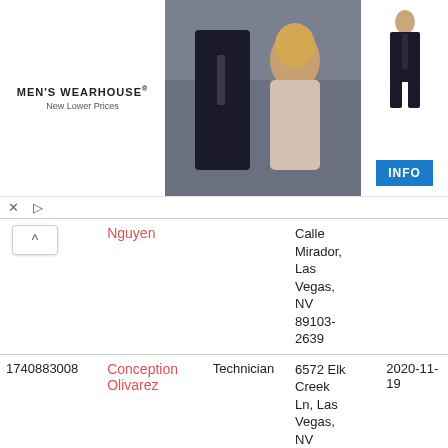[Figure (photo): Men's Wearhouse advertisement banner showing a couple in formal wear and a suit figure, with INFO button]
| ID | Name | Title | Address | Date |
| --- | --- | --- | --- | --- |
|  | Nguyen |  | Calle Mirador, Las Vegas, NV 89103-2639 |  |
| 1740883008 | Conception Olivarez | Technician | 6572 Elk Creek Ln, Las Vegas, NV 89156-3740 | 2020-11-19 |
| 1740883149 | Donna Marie | Technician | 3300 N Tenaya | 2020-11-18 |